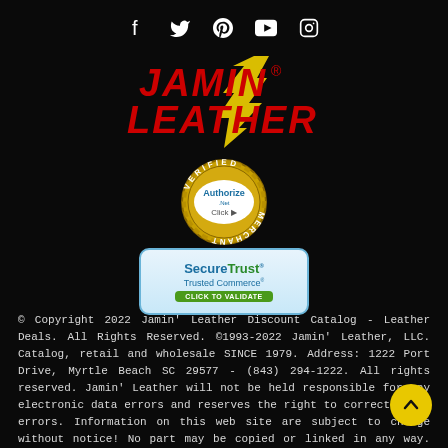[Figure (logo): Social media icons: Facebook, Twitter, Pinterest, YouTube, Instagram]
[Figure (logo): Jamin Leather brand logo with red stylized text and yellow lightning bolt accents]
[Figure (logo): Authorize.Net Verified Merchant badge - gold circular stamp with blue text]
[Figure (logo): SecureTrust Trusted Commerce - Click to Validate badge with blue and green styling]
© Copyright 2022 Jamin' Leather Discount Catalog - Leather Deals. All Rights Reserved. ©1993-2022 Jamin' Leather, LLC. Catalog, retail and wholesale SINCE 1979. Address: 1222 Port Drive, Myrtle Beach SC 29577 - (843) 294-1222. All rights reserved. Jamin' Leather will not be held responsible for any electronic data errors and reserves the right to correct these errors. Information on this web site are subject to change without notice! No part may be copied or linked in any way. Unauthorized use is in violation of applicable laws. Such violators agree to pay a usage fee of one thousand US dollars per month for each image.